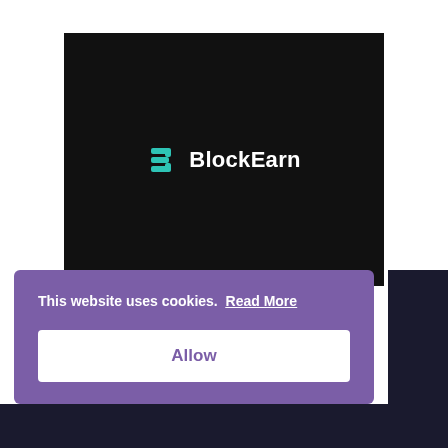[Figure (screenshot): BlockEarn logo centered on a dark/black background screen. The logo shows a teal stylized 'B' icon followed by the text 'BlockEarn' in white.]
This website uses cookies. Read More
Allow